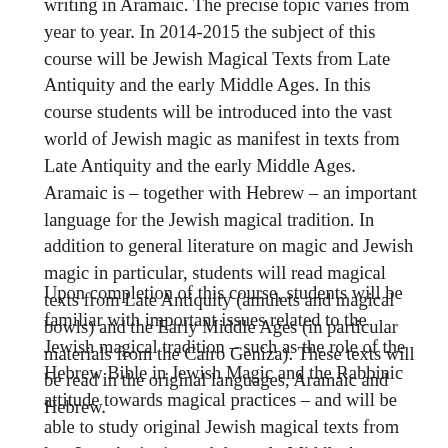writing in Aramaic. The precise topic varies from year to year. In 2014-2015 the subject of this course will be Jewish Magical Texts from Late Antiquity and the early Middle Ages. In this course students will be introduced into the vast world of Jewish magic as manifest in texts from Late Antiquity and the early Middle Ages. Aramaic is – together with Hebrew – an important language for the Jewish magical tradition. In addition to general literature on magic and Jewish magic in particular, students will read magical texts from Late Antiquity (amulets and magical bowls) and the Early Middle Ages (in particular materials from the Cairo Geniza). These texts will be read in the original languages, Aramaic and Hebrew.
Upon completion of this course, students will be familiar with important issues related to the Jewish magical tradition – such as the role of the Hebrew Bible in Jewish Magic and the Rabbinic attitude towards magical practices – and will be able to study original Jewish magical texts from late Late Antiquity and the early Middle Ages.